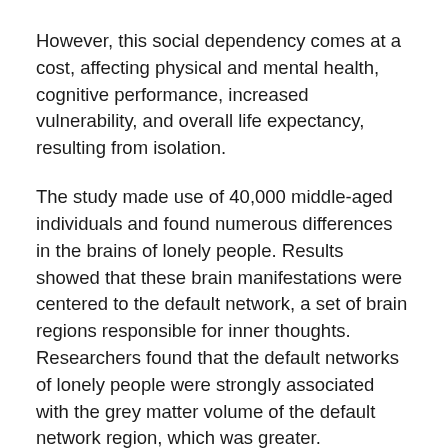However, this social dependency comes at a cost, affecting physical and mental health, cognitive performance, increased vulnerability, and overall life expectancy, resulting from isolation.
The study made use of 40,000 middle-aged individuals and found numerous differences in the brains of lonely people. Results showed that these brain manifestations were centered to the default network, a set of brain regions responsible for inner thoughts. Researchers found that the default networks of lonely people were strongly associated with the grey matter volume of the default network region, which was greater. Additionally, the fornix, a bundle of nerve fiber tract, was better preserved in lonely people.
Loneliness may result in morbidity, hypertension, immune system, and suicidal tendency. The study also adds that loneliness is estimated to affect 10–20% of adults devoid of